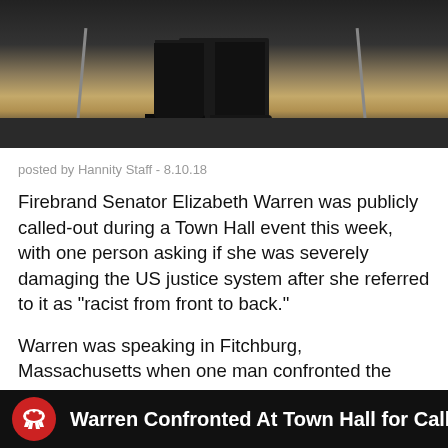[Figure (photo): Photo of a person on a stage, showing legs and feet, with microphone stands visible. Dark background with wooden stage floor.]
posted by Hannity Staff - 8.10.18
Firebrand Senator Elizabeth Warren was publicly called-out during a Town Hall event this week, with one person asking if she was severely damaging the US justice system after she referred to it as “racist from front to back.”
Warren was speaking in Fitchburg, Massachusetts when one man confronted the liberal legislator for claiming thousands of workers in the US Justice System were inherently “racist.”
[Figure (screenshot): Dark banner with Republican elephant logo and text: Warren Confronted At Town Hall for Calling Jus[tice System Racist]]